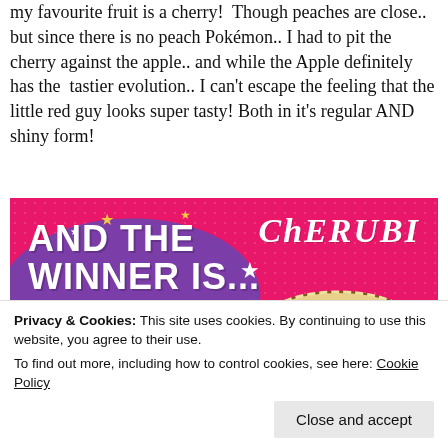my favourite fruit is a cherry!  Though peaches are close.. but since there is no peach Pokémon.. I had to pit the cherry against the apple.. and while the Apple definitely has the  tastier evolution.. I can't escape the feeling that the little red guy looks super tasty! Both in it's regular AND shiny form!
[Figure (illustration): Hot pink banner with purple oval shape on left reading 'AND THE WINNER IS...' in bold white text, stars scattered around, and 'CHERUBI' in italic white serif text on the right, with an illustration of a cherry pie on the right side.]
Privacy & Cookies: This site uses cookies. By continuing to use this website, you agree to their use.
To find out more, including how to control cookies, see here: Cookie Policy